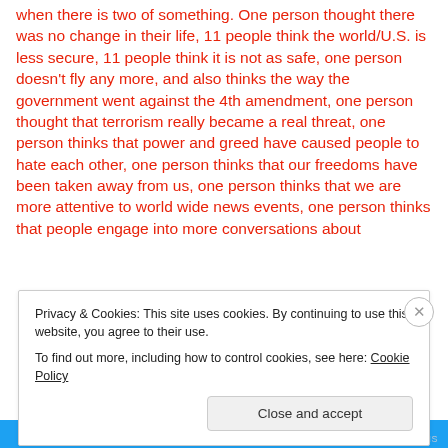when there is two of something. One person thought there was no change in their life, 11 people think the world/U.S. is less secure, 11 people think it is not as safe, one person doesn't fly any more, and also thinks the way the government went against the 4th amendment, one person thought that terrorism really became a real threat, one person thinks that power and greed have caused people to hate each other, one person thinks that our freedoms have been taken away from us, one person thinks that we are more attentive to world wide news events, one person thinks that people engage into more conversations about
Privacy & Cookies: This site uses cookies. By continuing to use this website, you agree to their use.
To find out more, including how to control cookies, see here: Cookie Policy
Close and accept